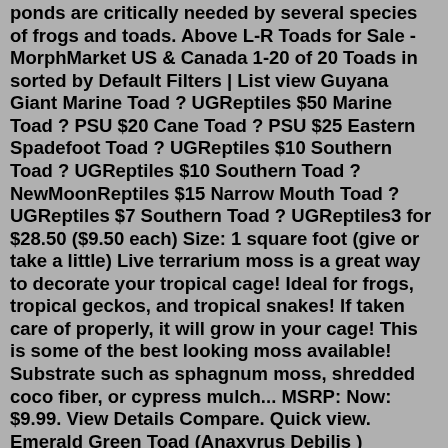ponds are critically needed by several species of frogs and toads. Above L-R Toads for Sale - MorphMarket US & Canada 1-20 of 20 Toads in sorted by Default Filters | List view Guyana Giant Marine Toad ? UGReptiles $50 Marine Toad ? PSU $20 Cane Toad ? PSU $25 Eastern Spadefoot Toad ? UGReptiles $10 Southern Toad ? UGReptiles $10 Southern Toad ? NewMoonReptiles $15 Narrow Mouth Toad ? UGReptiles $7 Southern Toad ? UGReptiles3 for $28.50 ($9.50 each) Size: 1 square foot (give or take a little) Live terrarium moss is a great way to decorate your tropical cage! Ideal for frogs, tropical geckos, and tropical snakes! If taken care of properly, it will grow in your cage! This is some of the best looking moss available! Substrate such as sphagnum moss, shredded coco fiber, or cypress mulch... MSRP: Now: $9.99. View Details Compare. Quick view. Emerald Green Toad (Anaxyrus Debilis ) SCIENTIFIC NAME: Bufo debilis DESCRIPTION: Beautiful little toads 1"+ MAXIMUM ADULT SIZE: 2 1/2 " DIET: